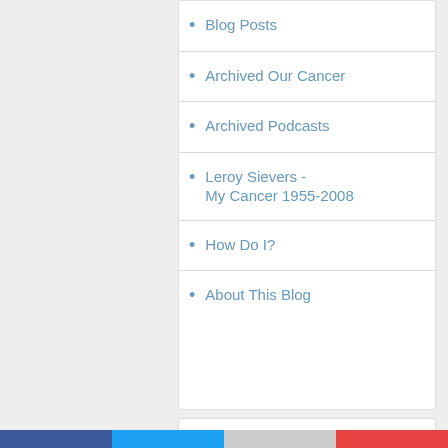Blog Posts
Archived Our Cancer
Archived Podcasts
Leroy Sievers - My Cancer 1955-2008
How Do I?
About This Blog
SUBSCRIBE
Your email:
Enter email address...